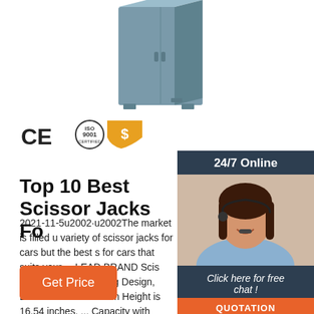[Figure (photo): Gray/steel-blue metal cabinet or locker product photo, top portion visible]
[Figure (logo): CE mark, ISO 9001 certification circle badge, and orange dollar-sign shield badge]
[Figure (photo): 24/7 Online customer service sidebar with woman wearing headset, dark blue background, Click here for free chat, QUOTATION orange button]
Top 10 Best Scissor Jacks Fo
2021-11-5u2002·u2002The market is filled u variety of scissor jacks for cars but the best s for cars that suits your ... LEAD BRAND Scis Fast and Labor-Saving Design, Load 1.8 ton Maximum Height is 16.54 inches. ... Capacity with Hand Crank Trolley Lifter with Ratchet More Info and Images. CPROSP Scissor Jack Car for/SUV ...
[Figure (logo): Orange TOP button with dotted arc above]
Get Price